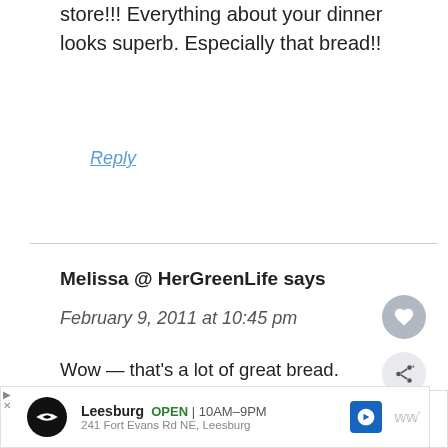store!!! Everything about your dinner looks superb. Especially that bread!!
Reply
Melissa @ HerGreenLife says
February 9, 2011 at 10:45 pm
Wow — that's a lot of great bread. What fun! Mike seems like a really cool CEO, nice and casual, not what one would exp… from a CEO 🙂
[Figure (infographic): What's Next banner showing a food thumbnail image with text 'WHAT'S NEXT → The Start Of Thursday']
[Figure (infographic): Advertisement bar for Leesburg location showing logo, OPEN 10AM-9PM, 241 Fort Evans Rd NE Leesburg, with navigation arrow icon and Waze logo]